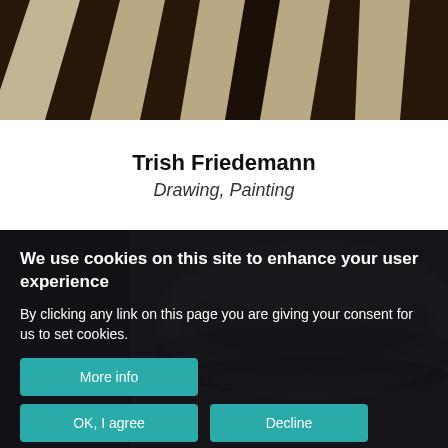[Figure (photo): Close-up of zebra stripe pattern in brown and cream/beige tones]
Trish Friedemann
Drawing, Painting
[Figure (photo): Ceramic white bowl on grey background, partially visible]
We use cookies on this site to enhance your user experience
By clicking any link on this page you are giving your consent for us to set cookies.
More info
OK, I agree
Decline